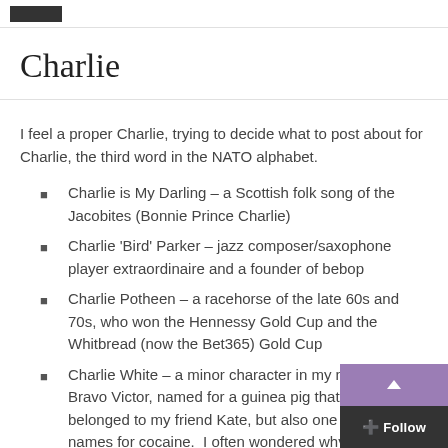[header nav bar with dark block]
Charlie
I feel a proper Charlie, trying to decide what to post about for Charlie, the third word in the NATO alphabet.
Charlie is My Darling – a Scottish folk song of the Jacobites (Bonnie Prince Charlie)
Charlie 'Bird' Parker – jazz composer/saxophone player extraordinaire and a founder of bebop
Charlie Potheen – a racehorse of the late 60s and 70s, who won the Hennessy Gold Cup and the Whitbread (now the Bet365) Gold Cup
Charlie White – a minor character in my next book Bravo Victor, named for a guinea pig that once belonged to my friend Kate, but also one of the slang names for cocaine.  I often wondered why she